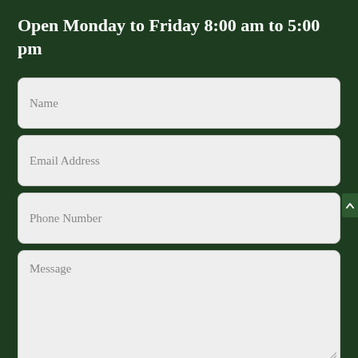Open Monday to Friday 8:00 am to 5:00 pm
[Figure (screenshot): Web contact form with fields: Name, Email Address, Phone Number, and Message (textarea). Dark green background. Fields have light gray rounded rectangle styling.]